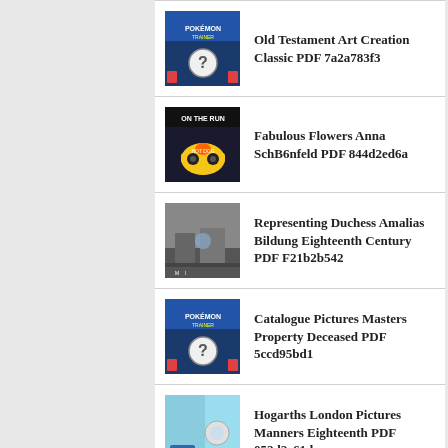Old Testament Art Creation Classic PDF 7a2a783f3
Fabulous Flowers Anna SchB6nfeld PDF 844d2ed6a
Representing Duchess Amalias Bildung Eighteenth Century PDF F21b2b542
Catalogue Pictures Masters Property Deceased PDF 5ccd95bd1
Hogarths London Pictures Manners Eighteenth PDF 052d2e61d
Fabulous Houses Anna SchB6nfeld PDF D624f8058